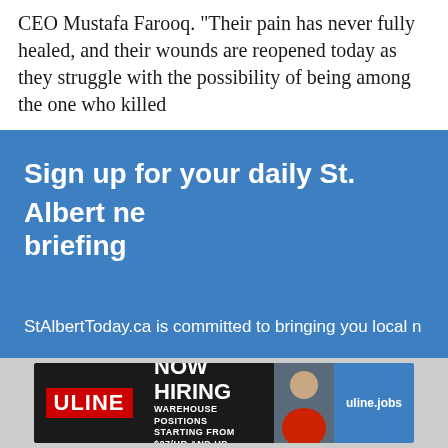CEO Mustafa Farooq. 'Their pain has never fully healed, and their wounds are reopened today as they struggle with the possibility of being among the one who killed
Sign up for your daily St. Albert news briefing
StAlbertToday.ca is committed to bringing you local news. Sign up for our FREE daily headlines - sent directly to you.
Email address
Don't worry: we won't share your information with anyone, and you
[Figure (infographic): ULINE NOW HIRING advertisement banner. Shows ULINE logo in red, 'NOW HIRING' text, 'WAREHOUSE POSITIONS STARTING FROM $27/HR AND UP', a photo of a person, and 'uline.jobs' URL on blue background.]